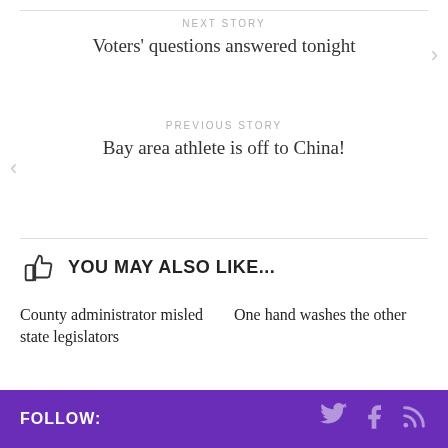NEXT STORY
Voters' questions answered tonight
PREVIOUS STORY
Bay area athlete is off to China!
YOU MAY ALSO LIKE...
County administrator misled state legislators
One hand washes the other
FOLLOW: